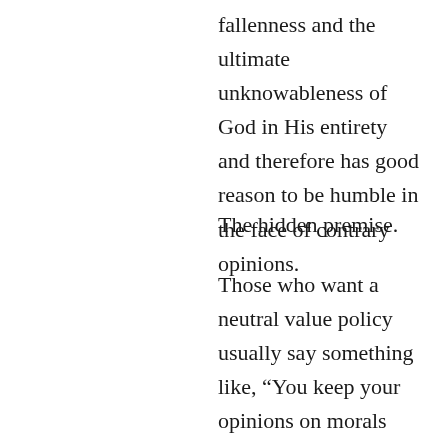fallenness and the ultimate unknowableness of God in His entirety and therefore has good reason to be humble in the face of contrary opinions.
The hidden premise.
Those who want a neutral value policy usually say something like, “You keep your opinions on morals private and I will do the same, and in that way we will both be happy.” This slick piece of sophistry is neither true nor honest. The hidden implication is that there is